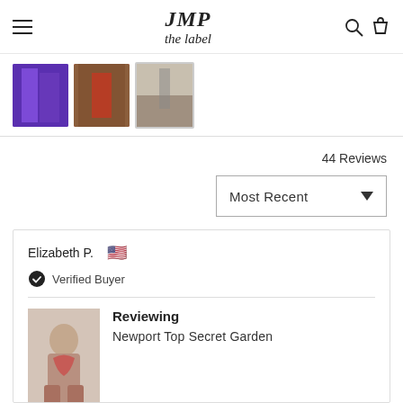JMP the label — navigation bar with hamburger menu, logo, search and cart icons
[Figure (photo): Row of three product thumbnail images showing swimwear/bikini lifestyle photos]
44 Reviews
Most Recent
Elizabeth P. 🇺🇸
Verified Buyer
Reviewing
Newport Top Secret Garden
[Figure (photo): Product photo of model wearing Newport Top Secret Garden bikini set]